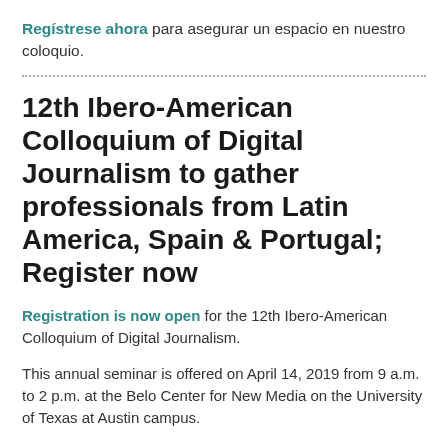Regístrese ahora para asegurar un espacio en nuestro coloquio.
12th Ibero-American Colloquium of Digital Journalism to gather professionals from Latin America, Spain & Portugal; Register now
Registration is now open for the 12th Ibero-American Colloquium of Digital Journalism.
This annual seminar is offered on April 14, 2019 from 9 a.m. to 2 p.m. at the Belo Center for New Media on the University of Texas at Austin campus.